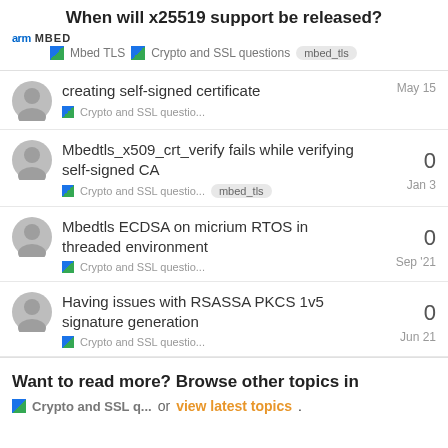When will x25519 support be released?
arm MBED · Mbed TLS · Crypto and SSL questions · mbed_tls
creating self-signed certificate | Crypto and SSL questio... | May 15
Mbedtls_x509_crt_verify fails while verifying self-signed CA | Crypto and SSL questio... mbed_tls | Jan 3 | 0
Mbedtls ECDSA on micrium RTOS in threaded environment | Crypto and SSL questio... | Sep '21 | 0
Having issues with RSASSA PKCS 1v5 signature generation | Crypto and SSL questio... | Jun 21 | 0
Want to read more? Browse other topics in Crypto and SSL q... or view latest topics.